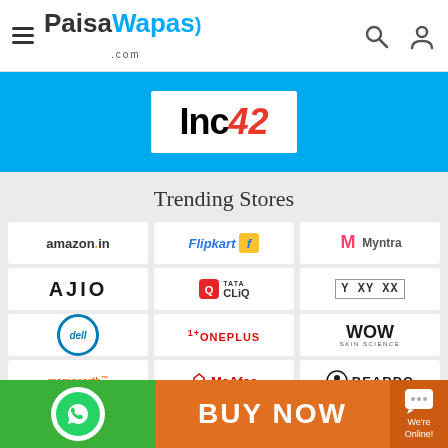PaisaWapas.com - Navigation header with hamburger menu, logo, search and account icons
[Figure (logo): Inc42 logo on blue banner background]
Trending Stores
[Figure (logo): Amazon.in logo]
[Figure (logo): Flipkart logo]
[Figure (logo): Myntra logo]
[Figure (logo): AJIO logo]
[Figure (logo): Tata CLiQ logo]
[Figure (logo): XYXX logo]
[Figure (logo): Dell logo]
[Figure (logo): OnePlus logo]
[Figure (logo): WOW Skin Science logo]
[Figure (logo): Mamaearth logo]
[Figure (logo): McAfee logo]
[Figure (logo): Beardo logo]
WhatsApp | BUY NOW | We're Online! chat widget